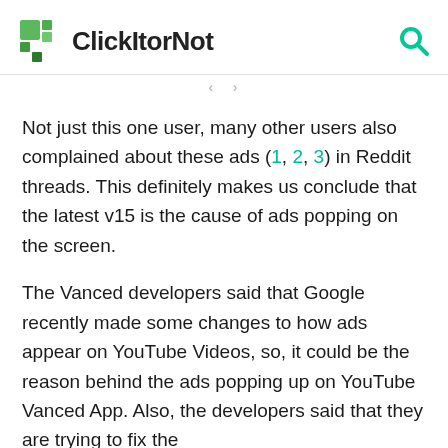ClickItorNot
Not just this one user, many other users also complained about these ads (1, 2, 3) in Reddit threads. This definitely makes us conclude that the latest v15 is the cause of ads popping on the screen.
The Vanced developers said that Google recently made some changes to how ads appear on YouTube Videos, so, it could be the reason behind the ads popping up on YouTube Vanced App. Also, the developers said that they are trying to fix the